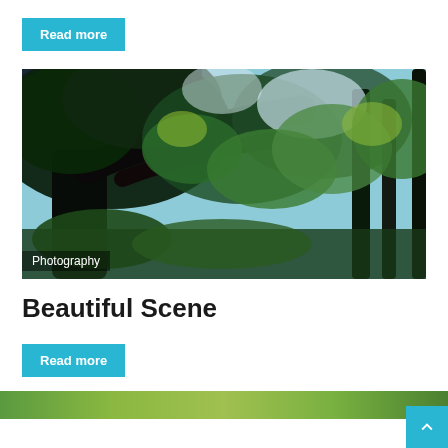Read more
[Figure (photo): Forest scene looking up through tall trees with dark trunks and lush green foliage against a bright sky, with a 'Photography' label overlay in the bottom left corner]
Beautiful Scene
Read more
[Figure (photo): Partial view of another outdoor scene visible at the very bottom of the page, with green grass/field]
↑ (back to top arrow button)